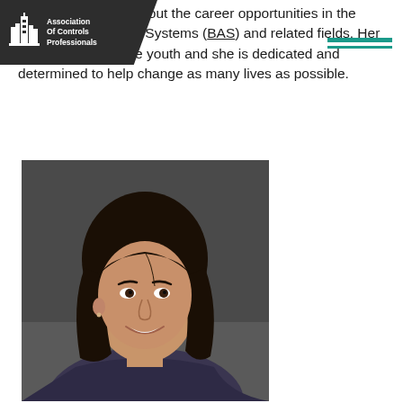[Figure (logo): Association Of Controls Professionals logo — dark trapezoid background with city skyline icon and white text]
W... ding awareness about the career opportunities in the Building Automation Systems (BAS) and related fields. Her passions lie with the youth and she is dedicated and determined to help change as many lives as possible.
[Figure (photo): Professional headshot of a young woman with dark shoulder-length hair, smiling, wearing a dark blazer, against a dark gray background]